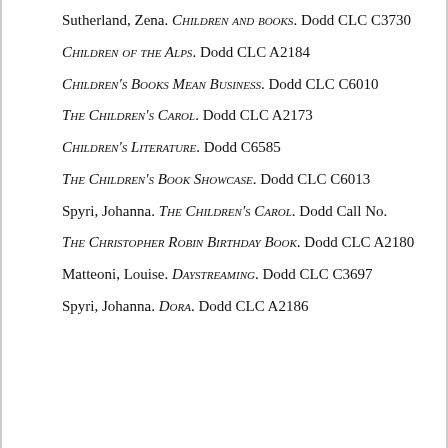Sutherland, Zena. Children and Books. Dodd CLC C3730
Children of the Alps. Dodd CLC A2184
Children's Books Mean Business. Dodd CLC C6010
The Children's Carol. Dodd CLC A2173
Children's Literature. Dodd C6585
The Children's Book Showcase. Dodd CLC C6013
Spyri, Johanna. The Children's Carol. Dodd Call No.
The Christopher Robin Birthday Book. Dodd CLC A2180
Matteoni, Louise. Daystreaming. Dodd CLC C3697
Spyri, Johanna. Dora. Dodd CLC A2186